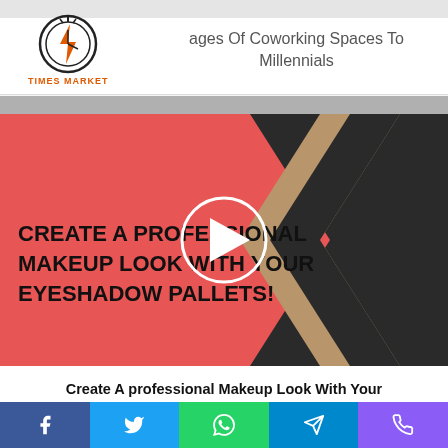TIMES MARKET
ages Of Coworking Spaces To Millennials
[Figure (screenshot): Thumbnail image for makeup tutorial video. Red background on left with bold uppercase text 'CREATE A PROFESSIONAL MAKEUP LOOK WITH YOUR EYESHADOW PALLETS!' overlaid. Tan and dark chevron arrows on the right side. White play button circle in the center.]
Create A professional Makeup Look With Your Eyeshadow Pallets!
Related Articles